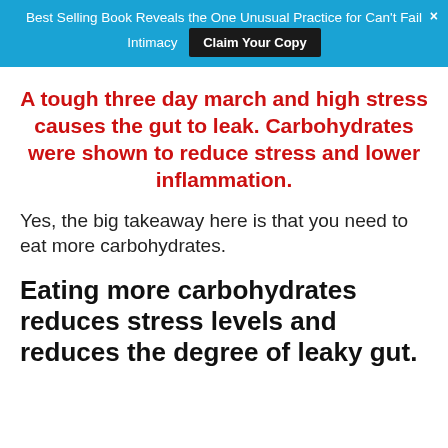Best Selling Book Reveals the One Unusual Practice for Can't Fail Intimacy  Claim Your Copy
A tough three day march and high stress causes the gut to leak. Carbohydrates were shown to reduce stress and lower inflammation.
Yes, the big takeaway here is that you need to eat more carbohydrates.
Eating more carbohydrates reduces stress levels and reduces the degree of leaky gut.